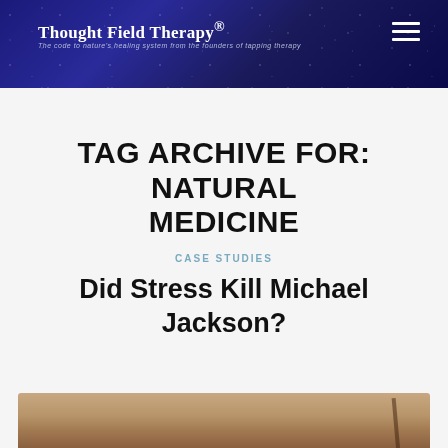Thought Field Therapy® — The code to nature's healing system from the founders of tapping therapy
TAG ARCHIVE FOR: NATURAL MEDICINE
CASE STUDIES
Did Stress Kill Michael Jackson?
[Figure (photo): Partial photo at bottom of page, warm brown tones, appears to show hands or a surface with a pen/pencil]